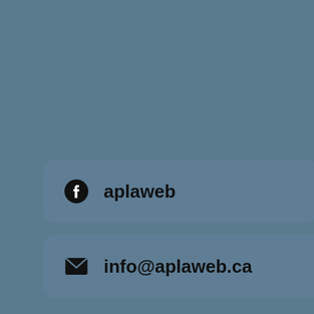[Figure (other): Facebook contact button with Facebook logo icon and text 'aplaweb']
[Figure (other): Email contact button with envelope icon and text 'info@aplaweb.ca']